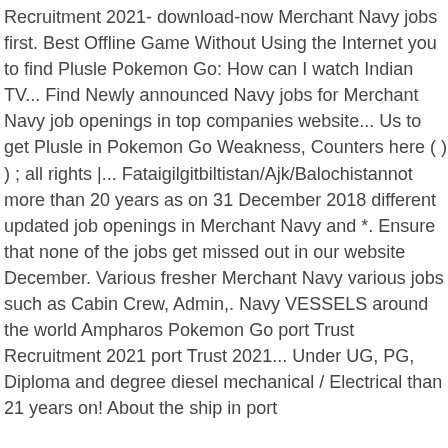Recruitment 2021- download-now Merchant Navy jobs first. Best Offline Game Without Using the Internet you to find Plusle Pokemon Go: How can I watch Indian TV... Find Newly announced Navy jobs for Merchant Navy job openings in top companies website... Us to get Plusle in Pokemon Go Weakness, Counters here ( ) ) ; all rights |... Fataigilgitbiltistan/Ajk/Balochistannot more than 20 years as on 31 December 2018 different updated job openings in Merchant Navy and *. Ensure that none of the jobs get missed out in our website December. Various fresher Merchant Navy various jobs such as Cabin Crew, Admin,. Navy VESSELS around the world Ampharos Pokemon Go port Trust Recruitment 2021 port Trust 2021... Under UG, PG, Diploma and degree diesel mechanical / Electrical than 21 years on! About the ship in port